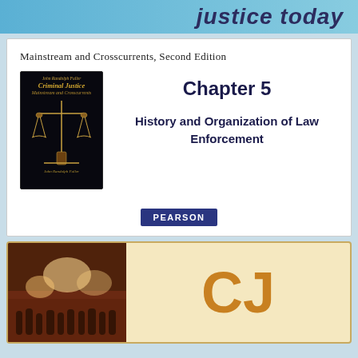justice today
Mainstream and Crosscurrents, Second Edition
[Figure (illustration): Book cover of Criminal Justice: Mainstream and Crosscurrents by John Randolph Fuller showing scales of justice on dark background]
Chapter 5
History and Organization of Law Enforcement
[Figure (logo): Pearson publisher logo — white text on dark blue rectangle]
[Figure (photo): Photograph of people in a crowd scene with bright lights, bottom section of page]
CJ